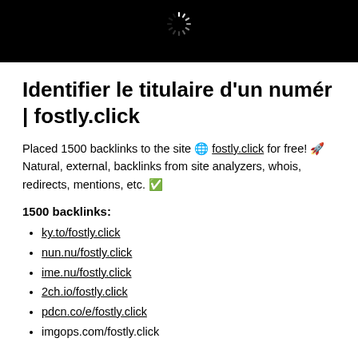[Figure (screenshot): Black banner with a loading spinner icon centered at the top]
Identifier le titulaire d'un numér | fostly.click
Placed 1500 backlinks to the site 🌐 fostly.click for free! 🚀 Natural, external, backlinks from site analyzers, whois, redirects, mentions, etc. ✅
1500 backlinks:
ky.to/fostly.click
nun.nu/fostly.click
ime.nu/fostly.click
2ch.io/fostly.click
pdcn.co/e/fostly.click
imgops.com/fostly.click